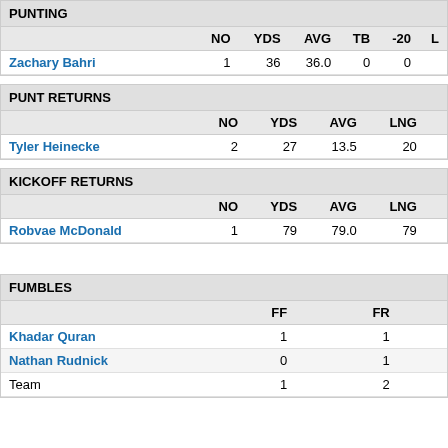PUNTING
|  | NO | YDS | AVG | TB | -20 | L |
| --- | --- | --- | --- | --- | --- | --- |
| Zachary Bahri | 1 | 36 | 36.0 | 0 | 0 |  |
PUNT RETURNS
|  | NO | YDS | AVG | LNG |
| --- | --- | --- | --- | --- |
| Tyler Heinecke | 2 | 27 | 13.5 | 20 |
KICKOFF RETURNS
|  | NO | YDS | AVG | LNG |
| --- | --- | --- | --- | --- |
| Robvae McDonald | 1 | 79 | 79.0 | 79 |
FUMBLES
|  | FF | FR |
| --- | --- | --- |
| Khadar Quran | 1 | 1 |
| Nathan Rudnick | 0 | 1 |
| Team | 1 | 2 |